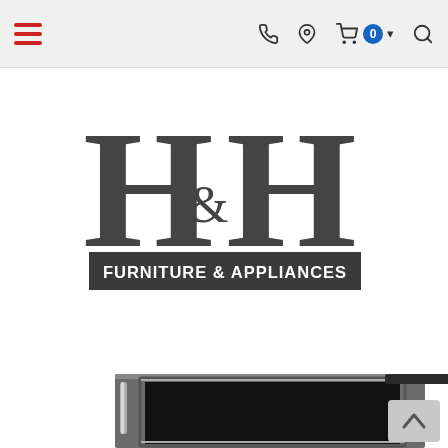[Figure (screenshot): Mobile website navigation bar with hamburger menu (red lines) on left, and icons (phone, location pin, shopping cart with 0 badge, dropdown arrow, search) on right, on a light gray background.]
[Figure (logo): H&H Furniture & Appliances logo. Large serif H&H letters in dark gray with '& ' in smaller text between them, and a dark rectangular banner below reading 'FURNITURE & APPLIANCES' in white capital letters.]
Shop by Category ▾
[Figure (photo): Close-up photo of what appears to be a dark stainless steel refrigerator or oven door panel, showing the top portion with a handle on the left side and a black glass window in the center.]